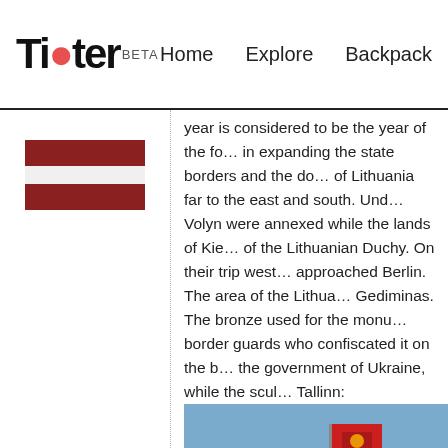Tipter BETA   Home   Explore   Backpack
[Figure (illustration): Latvian flag with two dark red stripes and white stripe in the middle]
year is considered to be the year of the fo... in expanding the state borders and the do... of Lithuania far to the east and south. Und... Volyn were annexed while the lands of Kie... of the Lithuanian Duchy. On their trip west... approached Berlin. The area of the Lithua... Gediminas. The bronze used for the monu... border guards who confiscated it on the b... the government of Ukraine, while the scul... Tallinn:
[Figure (photo): A building with a red Lithuanian flag flying on top against a blue sky]